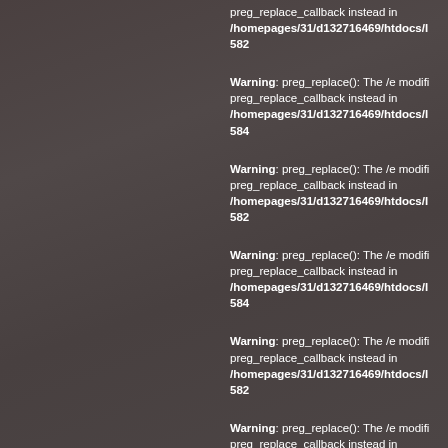preg_replace_callback instead in /homepages/31/d132716469/htdocs/l 582
Warning: preg_replace(): The /e modifi preg_replace_callback instead in /homepages/31/d132716469/htdocs/l 584
Warning: preg_replace(): The /e modifi preg_replace_callback instead in /homepages/31/d132716469/htdocs/l 582
Warning: preg_replace(): The /e modifi preg_replace_callback instead in /homepages/31/d132716469/htdocs/l 584
Warning: preg_replace(): The /e modifi preg_replace_callback instead in /homepages/31/d132716469/htdocs/l 582
Warning: preg_replace(): The /e modifi preg_replace_callback instead in